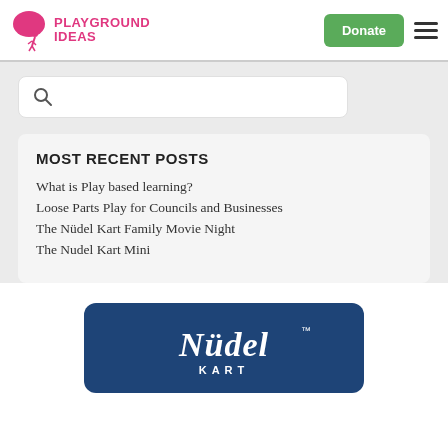PLAYGROUND IDEAS — Donate — Menu
Search box
MOST RECENT POSTS
What is Play based learning?
Loose Parts Play for Councils and Businesses
The Nüdel Kart Family Movie Night
The Nudel Kart Mini
[Figure (logo): Nüdel Kart logo on dark blue background with italic white script text reading 'Nüdel' with TM mark and 'KART' in small caps below]